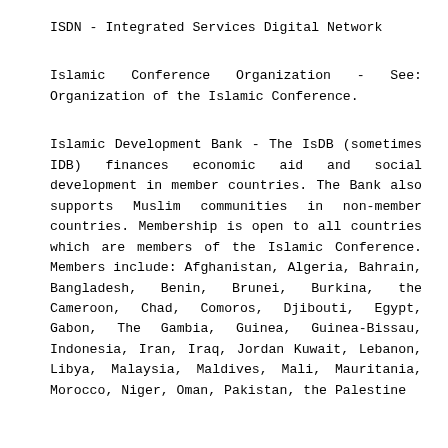ISDN - Integrated Services Digital Network
Islamic Conference Organization - See: Organization of the Islamic Conference.
Islamic Development Bank - The IsDB (sometimes IDB) finances economic aid and social development in member countries. The Bank also supports Muslim communities in non-member countries. Membership is open to all countries which are members of the Islamic Conference. Members include: Afghanistan, Algeria, Bahrain, Bangladesh, Benin, Brunei, Burkina, the Cameroon, Chad, Comoros, Djibouti, Egypt, Gabon, The Gambia, Guinea, Guinea-Bissau, Indonesia, Iran, Iraq, Jordan Kuwait, Lebanon, Libya, Malaysia, Maldives, Mali, Mauritania, Morocco, Niger, Oman, Pakistan, the Palestine